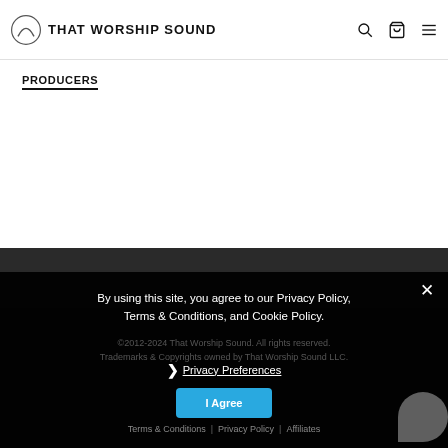THAT WORSHIP SOUND
PRODUCERS
By using this site, you agree to our Privacy Policy, Terms & Conditions, and Cookie Policy.
Privacy Preferences
I Agree
Terms & Conditions | Privacy Policy | Affiliates